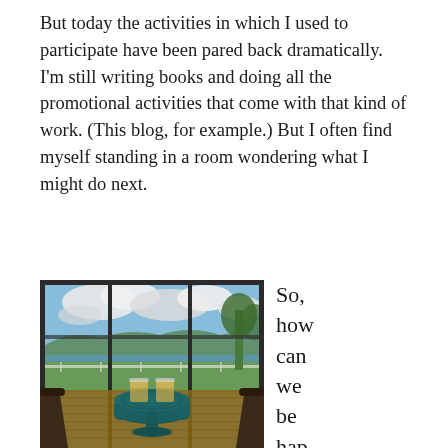But today the activities in which I used to participate have been pared back dramatically. I'm still writing books and doing all the promotional activities that come with that kind of work. (This blog, for example.) But I often find myself standing in a room wondering what I might do next.
[Figure (photo): A photo taken from inside a building through large glass windows, looking out at a scenic tropical landscape with blue sky, clouds, hills in the background, and greenery. In the foreground is a round dark teal/blue patterned table with two glasses of amber liquid (whiskey or similar), and two dark chairs on either side. A wooden deck is visible.]
So, how can we be happy in retir